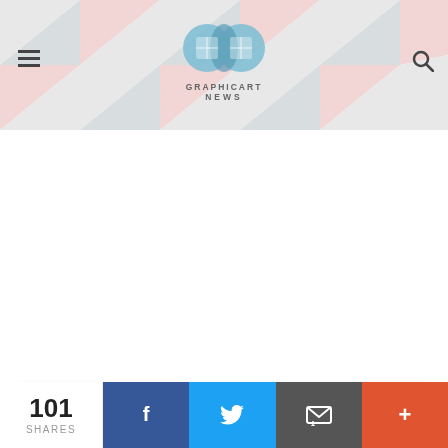GRAPHICART NEWS
[Figure (illustration): Geometric quilt-like pattern made of colorful triangles in navy, dark teal, red, khaki/tan, cream, gray, and white arranged in repeating square blocks.]
Privacy & Cookies: This site uses cookies. By continuing to use this website, you agree to their use.
To find out more, including how to control cookies, see here: Cookie Policy
101 SHARES | Facebook | Twitter | Email | +